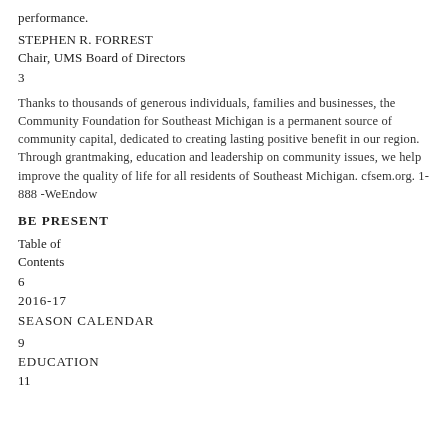performance.
STEPHEN R. FORREST
Chair, UMS Board of Directors
3
Thanks to thousands of generous individuals, families and businesses, the Community Foundation for Southeast Michigan is a permanent source of community capital, dedicated to creating lasting positive benefit in our region. Through grantmaking, education and leadership on community issues, we help improve the quality of life for all residents of Southeast Michigan. cfsem.org. 1-888-WeEndow
BE PRESENT
Table of
Contents
6
2016-17
SEASON CALENDAR
9
EDUCATION
11